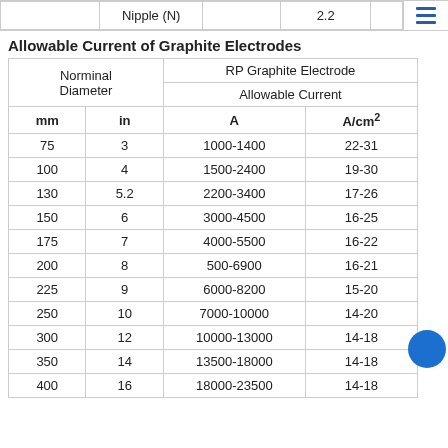|  | Nipple (N) |  | 2.2 |  |
| --- | --- | --- | --- | --- |
Allowable Current of Graphite Electrodes
| Norminal Diameter mm | Norminal Diameter in | RP Graphite Electrode Allowable Current A | RP Graphite Electrode Allowable Current A/cm2 |
| --- | --- | --- | --- |
| 75 | 3 | 1000-1400 | 22-31 |
| 100 | 4 | 1500-2400 | 19-30 |
| 130 | 5.2 | 2200-3400 | 17-26 |
| 150 | 6 | 3000-4500 | 16-25 |
| 175 | 7 | 4000-5500 | 16-22 |
| 200 | 8 | 500-6900 | 16-21 |
| 225 | 9 | 6000-8200 | 15-20 |
| 250 | 10 | 7000-10000 | 14-20 |
| 300 | 12 | 10000-13000 | 14-18 |
| 350 | 14 | 13500-18000 | 14-18 |
| 400 | 16 | 18000-23500 | 14-18 |